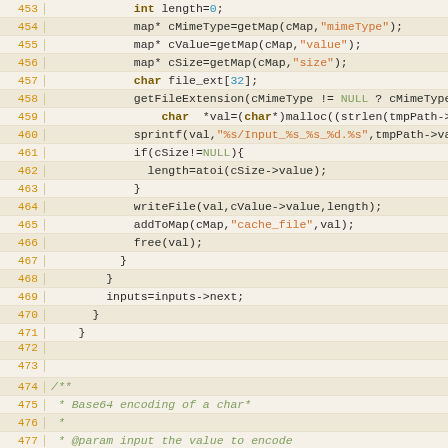[Figure (screenshot): Source code viewer showing C code lines 453-479 with line numbers in orange on a beige background. Code includes variable declarations, file extension handling, sprintf, writeFile, addToMap, free calls, and a Javadoc comment block for Base64 encoding function.]